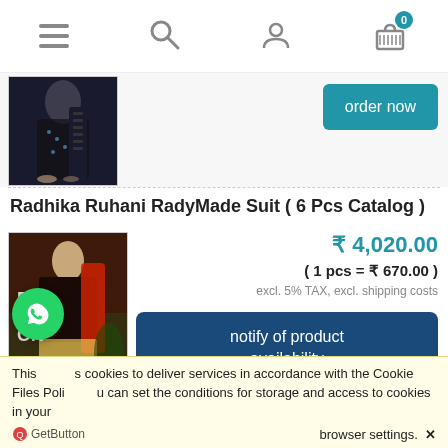Navigation bar with menu, search, account, and cart icons (cart count: 0)
[Figure (photo): Partial product image of a black embroidered salwar suit with order now button]
order now
Radhika Ruhani RadyMade Suit ( 6 Pcs Catalog )
[Figure (photo): Fashion model wearing a dark maroon/black salwar suit with red dupatta, with 'FASHION' text overlay]
₹ 4,020.00
( 1 pcs = ₹ 670.00 )
excl. 5% TAX, excl. shipping costs
notify of product availability
This uses cookies to deliver services in accordance with the Cookie Files Policy. You can set the conditions for storage and access to cookies in your browser settings. ✕
GetButton